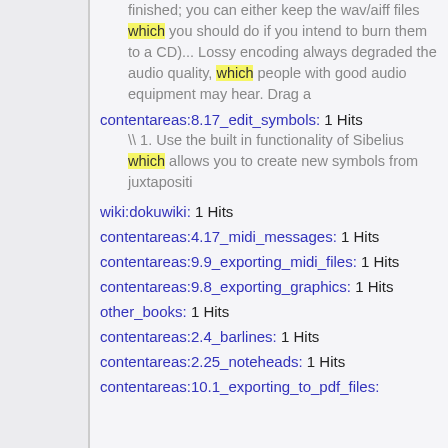finished; you can either keep the wav/aiff files which you should do if you intend to burn them to a CD)... Lossy encoding always degraded the audio quality, which people with good audio equipment may hear. Drag a
contentareas:8.17_edit_symbols: 1 Hits \\ 1. Use the built in functionality of Sibelius which allows you to create new symbols from juxtapositi
wiki:dokuwiki: 1 Hits
contentareas:4.17_midi_messages: 1 Hits
contentareas:9.9_exporting_midi_files: 1 Hits
contentareas:9.8_exporting_graphics: 1 Hits
other_books: 1 Hits
contentareas:2.4_barlines: 1 Hits
contentareas:2.25_noteheads: 1 Hits
contentareas:10.1_exporting_to_pdf_files: